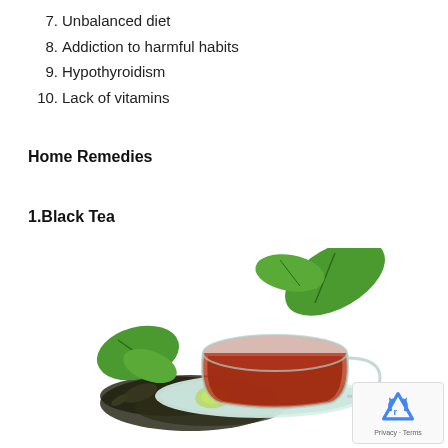7. Unbalanced diet
8. Addiction to harmful habits
9. Hypothyroidism
10. Lack of vitamins
Home Remedies
1.Black Tea
[Figure (photo): A glass cup of black tea on a saucer with loose tea leaves scattered around and green leaves as decoration, on a white background.]
Privacy · Terms